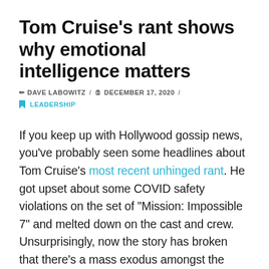Tom Cruise's rant shows why emotional intelligence matters
DAVE LABOWITZ / DECEMBER 17, 2020 / LEADERSHIP
If you keep up with Hollywood gossip news, you've probably seen some headlines about Tom Cruise's most recent unhinged rant. He got upset about some COVID safety violations on the set of "Mission: Impossible 7" and melted down on the cast and crew. Unsurprisingly, now the story has broken that there's a mass exodus amongst the movie's staff. Even in the middle of a pandemic people who desperately need jobs are quitting,